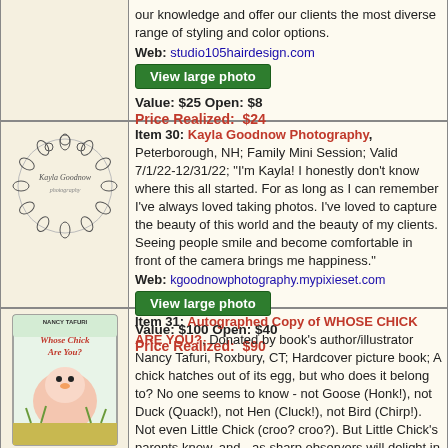our knowledge and offer our clients the most diverse range of styling and color options. Web: studio105hairdesign.com
Value: $25 Open: $8
Price Realized: $24
Item 30: Kayla Goodnow Photography, Peterborough, NH; Family Mini Session; Valid 7/1/22-12/31/22; "I'm Kayla! I honestly don't know where this all started. For as long as I can remember I've always loved taking photos. I've loved to capture the beauty of this world and the beauty of my clients. Seeing people smile and become comfortable in front of the camera brings me happiness." Web: kgoodnowphotography.mypixieset.com
Value: $100 Open: $40
Price Realized: $90
Item 31: Autographed Copy of WHOSE CHICK ARE YOU?, Donated by book's author/illustrator Nancy Tafuri, Roxbury, CT; Hardcover picture book; A chick hatches out of its egg, but who does it belong to? No one seems to know - not Goose (Honk!), not Duck (Quack!), not Hen (Cluck!), not Bird (Chirp!). Not even Little Chick (croo? croo?). But Little Chick's parents know, and - as sharp observers will delight in